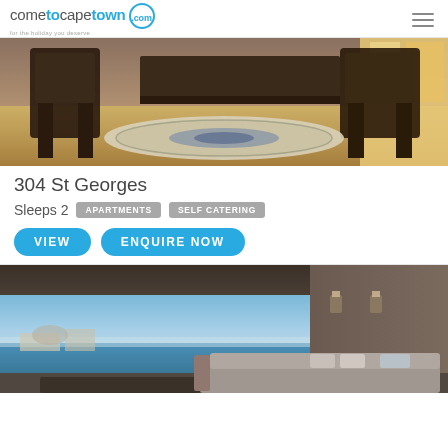cometocapetown.com — for the holiday you deserve
[Figure (photo): Interior room photo showing dark wooden antique chairs and a decorative rug on a light wooden floor, with a window on the right letting in natural light.]
304 St Georges
Sleeps 2   APARTMENTS   SELF CATERING
VIEW   ENQUIRE NOW
[Figure (photo): Balcony/terrace with ocean view overlooking Cape Town waterfront. Blue sky, sea in background, outdoor sofa/seating visible in foreground, modern building overhang above.]